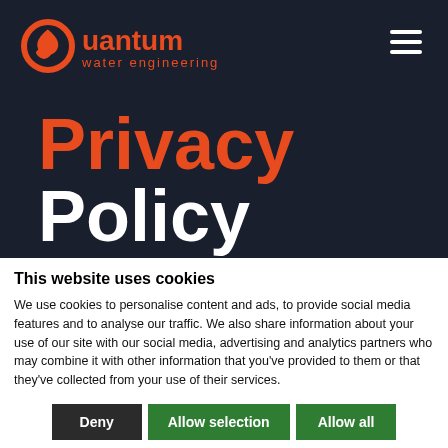[Figure (logo): Quantum Water Engineering logo with orange circular Q symbol and orange text]
Privacy Policy
This website uses cookies
We use cookies to personalise content and ads, to provide social media features and to analyse our traffic. We also share information about your use of our site with our social media, advertising and analytics partners who may combine it with other information that you've provided to them or that they've collected from your use of their services.
Deny | Allow selection | Allow all
Necessary | Preferences | Statistics | Marketing | Show details